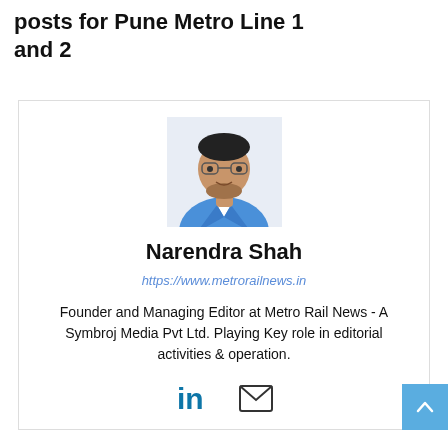posts for Pune Metro Line 1 and 2
[Figure (photo): Portrait photo of Narendra Shah, a man wearing glasses and a blue blazer with white shirt]
Narendra Shah
https://www.metrorailnews.in
Founder and Managing Editor at Metro Rail News - A Symbroj Media Pvt Ltd. Playing Key role in editorial activities & operation.
[Figure (other): LinkedIn icon and email envelope icon social media links]